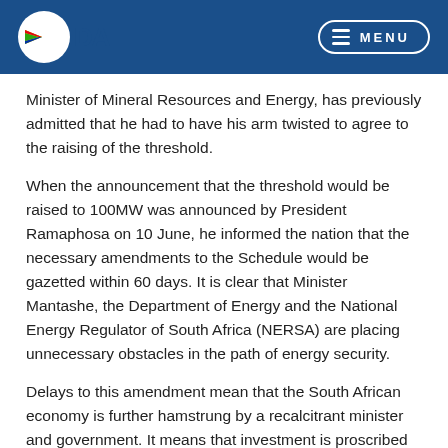DA Logo and Menu navigation header
Minister of Mineral Resources and Energy, has previously admitted that he had to have his arm twisted to agree to the raising of the threshold.
When the announcement that the threshold would be raised to 100MW was announced by President Ramaphosa on 10 June, he informed the nation that the necessary amendments to the Schedule would be gazetted within 60 days. It is clear that Minister Mantashe, the Department of Energy and the National Energy Regulator of South Africa (NERSA) are placing unnecessary obstacles in the path of energy security.
Delays to this amendment mean that the South African economy is further hamstrung by a recalcitrant minister and government. It means that investment is proscribed and job creation hindered. It means that South Africa's citizens continue to be subjected to the threat of rolling blackouts arising from a dysfunctional and failing Eskom monopoly.